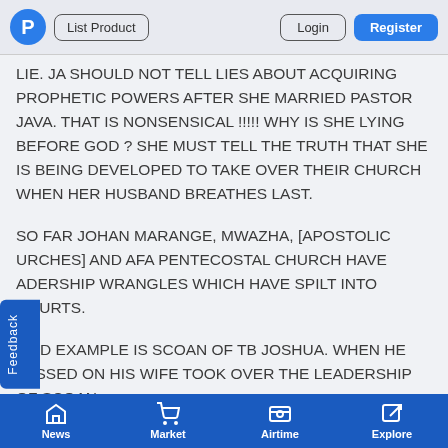P | List Product | Login | Register
LIE. JA SHOULD NOT TELL LIES ABOUT ACQUIRING PROPHETIC POWERS AFTER SHE MARRIED PASTOR JAVA. THAT IS NONSENSICAL !!!!! WHY IS SHE LYING BEFORE GOD ? SHE MUST TELL THE TRUTH THAT SHE IS BEING DEVELOPED TO TAKE OVER THEIR CHURCH WHEN HER HUSBAND BREATHES LAST.
SO FAR JOHAN MARANGE, MWAZHA, [APOSTOLIC URCHES] AND AFA PENTECOSTAL CHURCH HAVE ADERSHIP WRANGLES WHICH HAVE SPILT INTO COURTS.
OOD EXAMPLE IS SCOAN OF TB JOSHUA. WHEN HE PASSED ON HIS WIFE TOOK OVER THE LEADERSHIP OF SCOAN
News | Market | Airtime | Explore